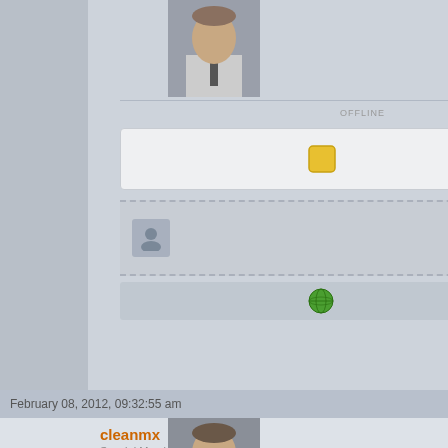[Figure (screenshot): Forum post screenshot showing left panel with avatar, offline status, yellow square icon, count 3405, globe icon; right panel with rss-feed and twitter links, a code block showing database query results with date and contributor columns, and bottom section with timestamp, username cleanmx, Special Members, Hero Member, and post title 'Re: clean mx's daily dirt']
rss-feed:  http://support.clean-mx.de/...
twitter:  http://twitter.com/CleanmxMalw...
Code: [Select]
| date | contributor |
| --- | --- |
| 2012-02-06 08:50:13 | sub16 |
| 2012-02-06 09:00:11 | sub7 |
| 2012-02-06 09:00:11 | sub7 |
| 2012-02-06 09:00:11 | sub7 |
| 2012-02-06 09:00:11 | sub7 |
| 2012-02-06 08:52:53 | sub5 |
| 2012-02-06 08:40:08 | sub5 |
| 2012-02-06 08:40:16 | sub5 |
| 2012-02-06 08:40:23 | sub5 |
| 2012-02-06 09:01:13 | sub9 |
| 2012-02-06 09:40:05 | sub15 |
| 2012-02-06 09:40:13 | sub16 |
| 2012-02-06 09:40:14 | sub16 |
OFFLINE
3405
February 08, 2012, 09:32:55 am
cleanmx
Special Members
Hero Member
Re: clean mx's daily dirt
upto 2012-02-06 15:00:38 CET  online... mx/viruses.php?sort=id%20desc&resp...